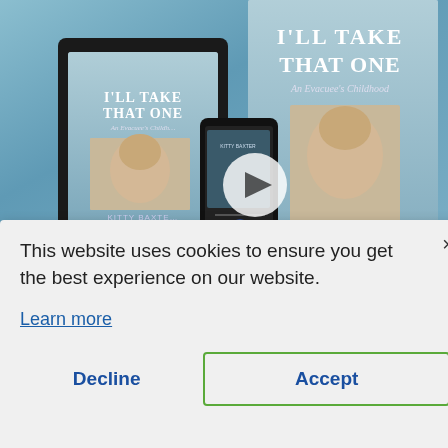[Figure (screenshot): Book cover promotional image for 'I'll Take That One: An Evacuee's Childhood' by Kitty Baxter, showing a Kindle device, physical book, and smartphone with a play button overlay, against a blue-grey sky background.]
This website uses cookies to ensure you get the best experience on our website.
Learn more
Decline
Accept
News & Events  /